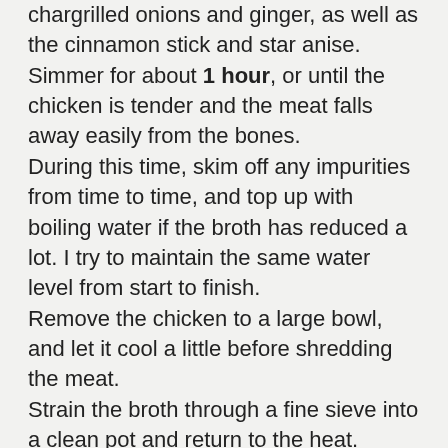chargrilled onions and ginger, as well as the cinnamon stick and star anise.
Simmer for about 1 hour, or until the chicken is tender and the meat falls away easily from the bones.
During this time, skim off any impurities from time to time, and top up with boiling water if the broth has reduced a lot. I try to maintain the same water level from start to finish.
Remove the chicken to a large bowl, and let it cool a little before shredding the meat.
Strain the broth through a fine sieve into a clean pot and return to the heat.
Season the broth with the salt, sugar and fish sauce. Taste for seasoning. If the broth is too strong or concentrated, add some boiling water.
Bring a pot of water to the boil and soften the fresh rice noodles for just a few seconds.
Divide the noodles between 4 large bowls with a